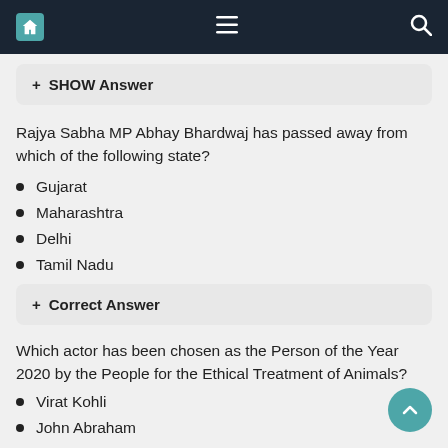Navigation bar with home, menu, and search icons
+ SHOW Answer
Rajya Sabha MP Abhay Bhardwaj has passed away from which of the following state?
Gujarat
Maharashtra
Delhi
Tamil Nadu
+ Correct Answer
Which actor has been chosen as the Person of the Year 2020 by the People for the Ethical Treatment of Animals?
Virat Kohli
John Abraham